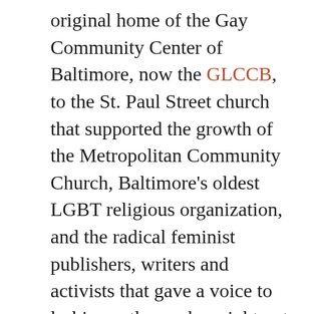original home of the Gay Community Center of Baltimore, now the GLCCB, to the St. Paul Street church that supported the growth of the Metropolitan Community Church, Baltimore's oldest LGBT religious organization, and the radical feminist publishers, writers and activists that gave a voice to lesbian authors who might not otherwise have been read. Whether you lived this history or are learning it for the first time, this tour is a unique opportunity to explore the places that shaped the growth of Baltimore's LGBT community and civil rights movement.